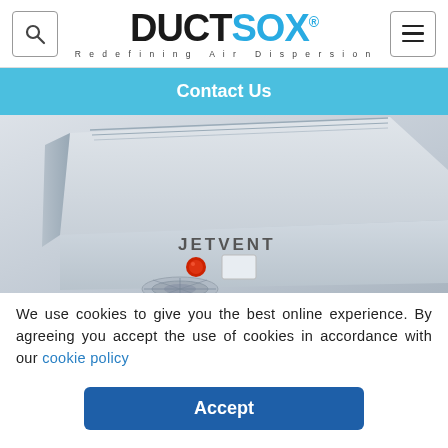DUCTSOX® — Redefining Air Dispersion — navigation header with search and menu icons
Contact Us
[Figure (photo): A JETVENT ceiling-mounted air dispersion unit, metallic gray housing with 'JETVENT' text, red button, white control box, and circular vents visible from below at an angle.]
We use cookies to give you the best online experience. By agreeing you accept the use of cookies in accordance with our cookie policy
Accept